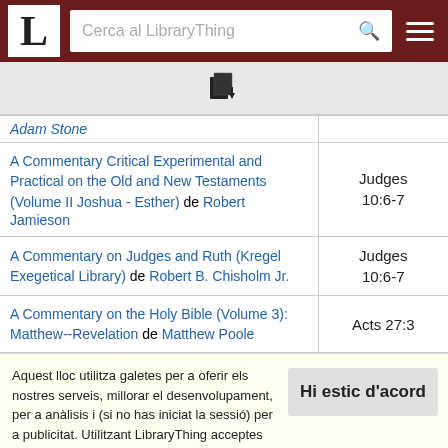LibraryThing - Cerca al LibraryThing
[Figure (screenshot): LibraryThing copy/download icon in toolbar area]
| Book title / Author | Reference |
| --- | --- |
| A Commentary Critical Experimental and Practical on the Old and New Testaments (Volume II Joshua - Esther) de Robert Jamieson | Judges 10:6-7 |
| A Commentary on Judges and Ruth (Kregel Exegetical Library) de Robert B. Chisholm Jr. | Judges 10:6-7 |
| A Commentary on the Holy Bible (Volume 3): Matthew--Revelation de Matthew Poole | Acts 27:3 |
Aquest lloc utilitza galetes per a oferir els nostres serveis, millorar el desenvolupament, per a anàlisis i (si no has iniciat la sessió) per a publicitat. Utilitzant LibraryThing acceptes que has llegit i entès els nostres Termes de servei i política de privacitat. L'ús que facis del lloc i dels seus serveis està subjecte a aquestes polítiques i termes.